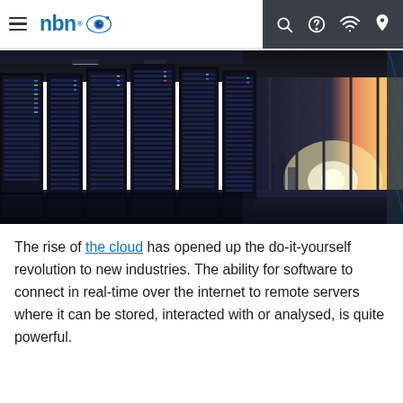nbn navigation bar with logo and icons
[Figure (photo): Data centre server room with rows of tall black server racks. Large floor-to-ceiling windows reveal a city skyline at sunset with warm orange and purple hues.]
The rise of the cloud has opened up the do-it-yourself revolution to new industries. The ability for software to connect in real-time over the internet to remote servers where it can be stored, interacted with or analysed, is quite powerful.